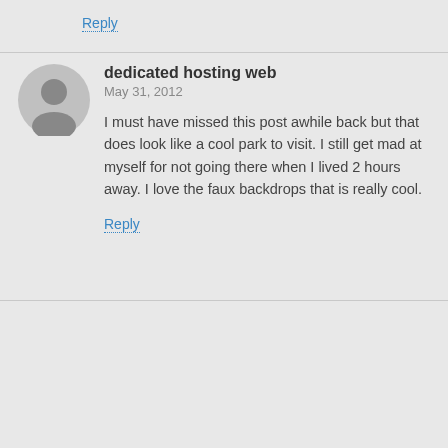Reply
[Figure (illustration): Gray circular avatar with silhouette of a person]
dedicated hosting web
May 31, 2012
I must have missed this post awhile back but that does look like a cool park to visit. I still get mad at myself for not going there when I lived 2 hours away. I love the faux backdrops that is really cool.
Reply